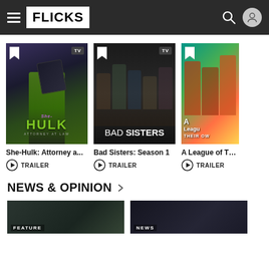FLICKS
[Figure (screenshot): She-Hulk: Attorney at Law TV show poster with bookmark and TV badge]
She-Hulk: Attorney a...
TRAILER
[Figure (screenshot): Bad Sisters: Season 1 TV show poster showing group of women with bookmark and TV badge]
Bad Sisters: Season 1
TRAILER
[Figure (screenshot): A League of Their Own TV show poster partially visible with bookmark]
A League of The...
TRAILER
NEWS & OPINION
[Figure (screenshot): Feature article thumbnail - dark nature/outdoor image]
FEATURE
[Figure (screenshot): News article thumbnail - dark image]
NEWS